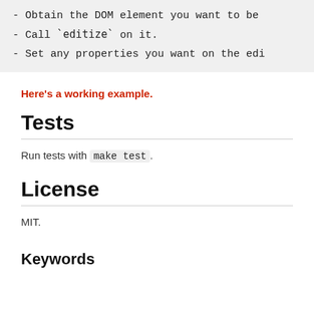- Obtain the DOM element you want to be
- Call `editize` on it.
- Set any properties you want on the edi
Here's a working example.
Tests
Run tests with make test.
License
MIT.
Keywords